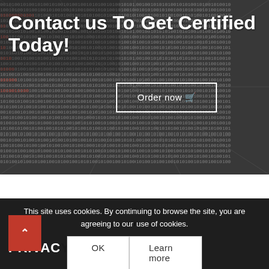[Figure (illustration): Dark background filled with binary code (0s and 1s) in white and red colors, creating a tunnel/perspective effect radiating from the center.]
Contact us To Get Certified Today!
Order now 🛒
This site uses cookies. By continuing to browse the site, you are agreeing to our use of cookies.
OK
Learn more
PRIVACY POLICY